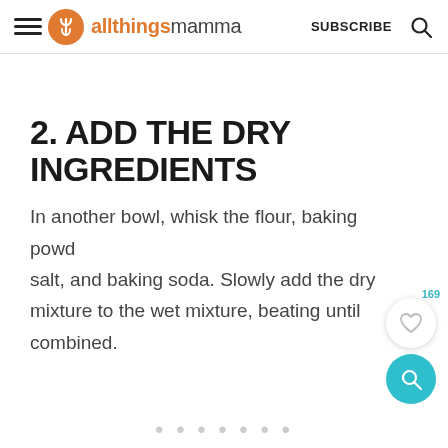allthingsmamma | SUBSCRIBE
2. ADD THE DRY INGREDIENTS
In another bowl, whisk the flour, baking powder, salt, and baking soda. Slowly add the dry mixture to the wet mixture, beating until combined.